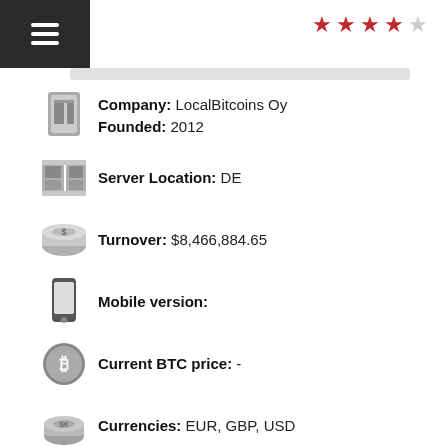Menu / Navigation bar with hamburger icon and 4-star rating
Company: LocalBitcoins Oy
Founded: 2012
Server Location: DE
Turnover: $8,466,884.65
Mobile version:
Current BTC price: -
Currencies: EUR, GBP, USD
Fee: From 1%
Time: 2 day
API: Yes
Support: Tickets